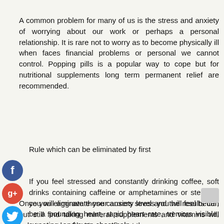A common problem for many of us is the stress and anxiety of worrying about our work or perhaps a personal relationship. It is rare not to worry as to become physically ill when faces financial problems or personal we cannot control. Popping pills is a popular way to cope but for nutritional supplements long term permanent relief are recommended.
Rule which can be eliminated by first
If you feel stressed and constantly drinking coffee, soft drinks containing caffeine or amphetamines or steroids, you will aggravate your anxiety level and the results can be a pounding heart, rapid heart rate, tremors visible, sweating, and even chest pain.
Once you eliminate those causers stress you will feel better, but still find taking mineral supplements and vitamins will help to your health. You can find at the